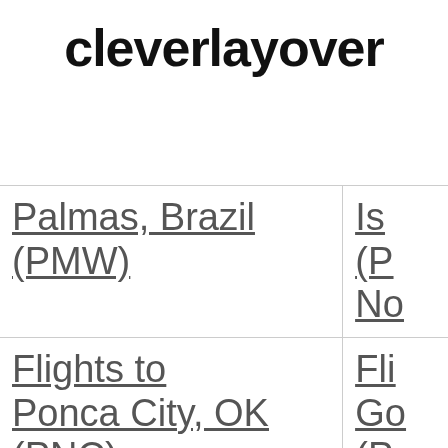cleverlayover
| Palmas, Brazil (PMW) | Is... (P No |
| Flights to Ponca City, OK (PNC) | Fli Go (P |